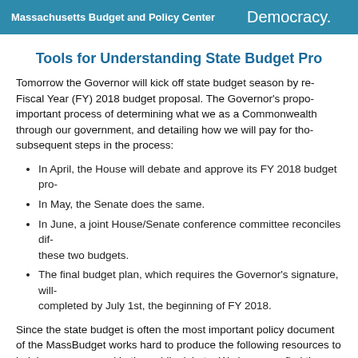Massachusetts Budget and Policy Center    Democracy.
Tools for Understanding State Budget Pro
Tomorrow the Governor will kick off state budget season by re- Fiscal Year (FY) 2018 budget proposal. The Governor's propo- important process of determining what we as a Commonwealth through our government, and detailing how we will pay for tho- subsequent steps in the process:
In April, the House will debate and approve its FY 2018 budget pro-
In May, the Senate does the same.
In June, a joint House/Senate conference committee reconciles dif- these two budgets.
The final budget plan, which requires the Governor's signature, will- completed by July 1st, the beginning of FY 2018.
Since the state budget is often the most important policy document of the MassBudget works hard to produce the following resources to helping you engaged in the public debate. We hope you find them useful!
Budget Monitors